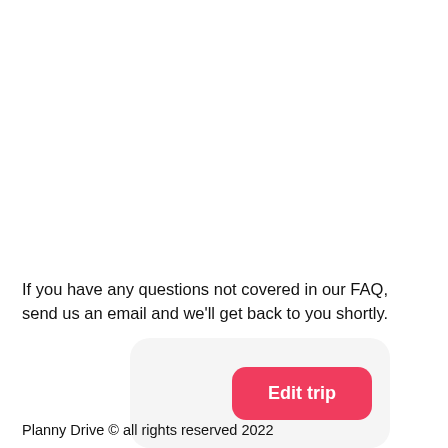If you have any questions not covered in our FAQ, send us an email and we'll get back to you shortly.
[Figure (other): A rounded card element containing a pink/red 'Edit trip' button on the right side]
Planny Drive © all rights reserved 2022